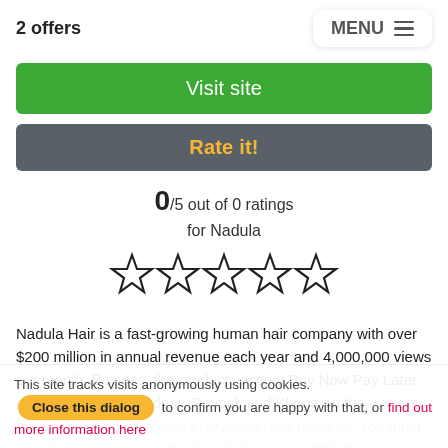2 offers   MENU
Visit site
Rate it!
0/5 out of 0 ratings for Nadula
[Figure (other): Five empty star rating icons in a row]
Nadula Hair is a fast-growing human hair company with over $200 million in annual revenue each year and 4,000,000 views per month. Besides, the products accept Buy Now Pay Later on Afterpay, Zip Quadpay, Paypal, and Klarna on the website. Important – To make sure everything runs properly. You must add deep links. Using Tracking links in your affiliate panel (which is under each offer (merchant…
This site tracks visits anonymously using cookies. Close this dialog to confirm you are happy with that, or find out more information here